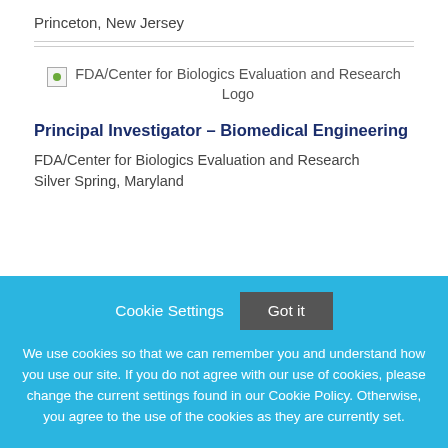Princeton, New Jersey
[Figure (logo): FDA/Center for Biologics Evaluation and Research Logo]
Principal Investigator – Biomedical Engineering
FDA/Center for Biologics Evaluation and Research
Silver Spring, Maryland
Cookie Settings   Got it

We use cookies so that we can remember you and understand how you use our site. If you do not agree with our use of cookies, please change the current settings found in our Cookie Policy. Otherwise, you agree to the use of the cookies as they are currently set.